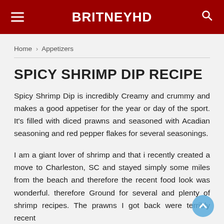BRITNEYHD
Home › Appetizers
SPICY SHRIMP DIP RECIPE
Spicy Shrimp Dip is incredibly Creamy and crummy and makes a good appetiser for the year or day of the sport. It's filled with diced prawns and seasoned with Acadian seasoning and red pepper flakes for several seasonings.
I am a giant lover of shrimp and that i recently created a move to Charleston, SC and stayed simply some miles from the beach and therefore the recent food look was wonderful. therefore Ground for several and plenty of shrimp recipes. The prawns I got back were terribly recent